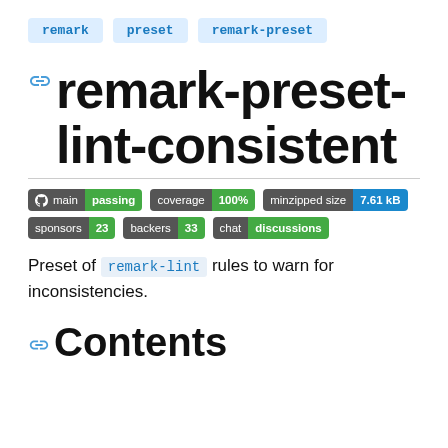remark  preset  remark-preset
remark-preset-lint-consistent
[Figure (infographic): Badge row 1: main passing | coverage 100% | minzipped size 7.61 kB. Badge row 2: sponsors 23 | backers 33 | chat discussions]
Preset of remark-lint rules to warn for inconsistencies.
Contents